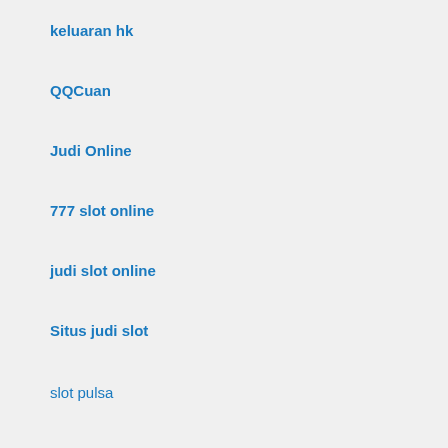keluaran hk
QQCuan
Judi Online
777 slot online
judi slot online
Situs judi slot
slot pulsa